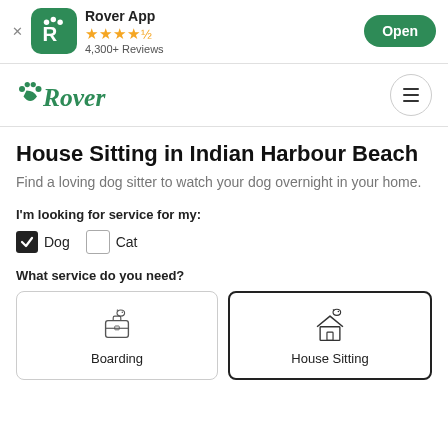[Figure (screenshot): Rover app banner with green icon showing paw and R logo, 4.5 star rating, 4,300+ Reviews, and Open button]
[Figure (logo): Rover green logo with paw print and cursive text, hamburger menu icon on right]
House Sitting in Indian Harbour Beach
Find a loving dog sitter to watch your dog overnight in your home.
I'm looking for service for my:
Dog (checked), Cat (unchecked)
What service do you need?
[Figure (infographic): Two service selection cards: Boarding (briefcase icon) and House Sitting (dog+house icon, selected with bold border)]